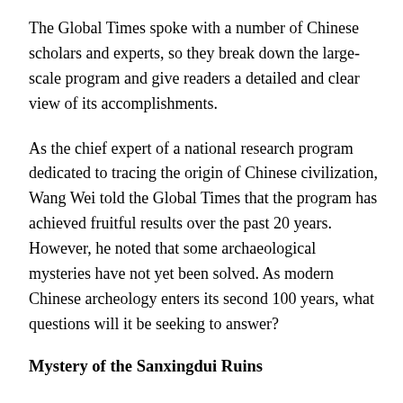The Global Times spoke with a number of Chinese scholars and experts, so they break down the large-scale program and give readers a detailed and clear view of its accomplishments.
As the chief expert of a national research program dedicated to tracing the origin of Chinese civilization, Wang Wei told the Global Times that the program has achieved fruitful results over the past 20 years. However, he noted that some archaeological mysteries have not yet been solved. As modern Chinese archeology enters its second 100 years, what questions will it be seeking to answer?
Mystery of the Sanxingdui Ruins